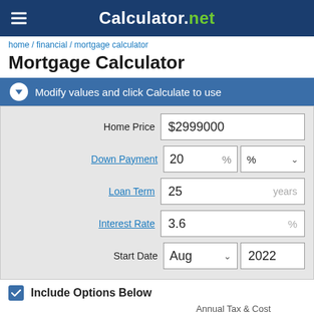Calculator.net
home / financial / mortgage calculator
Mortgage Calculator
Modify values and click Calculate to use
| Field | Value |
| --- | --- |
| Home Price | $2999000 |
| Down Payment | 20 % | % |
| Loan Term | 25 years |
| Interest Rate | 3.6 % |
| Start Date | Aug 2022 |
Include Options Below
Annual Tax & Cost